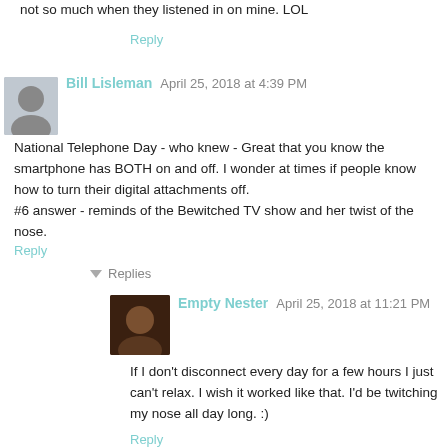not so much when they listened in on mine. LOL
Reply
Bill Lisleman  April 25, 2018 at 4:39 PM
National Telephone Day - who knew - Great that you know the smartphone has BOTH on and off. I wonder at times if people know how to turn their digital attachments off.
#6 answer - reminds of the Bewitched TV show and her twist of the nose.
Reply
Replies
Empty Nester  April 25, 2018 at 11:21 PM
If I don't disconnect every day for a few hours I just can't relax. I wish it worked like that. I'd be twitching my nose all day long. :)
Reply
Cathy  April 25, 2018 at 5:17 PM
Being at the beck and call of your cute grandkids is a very good